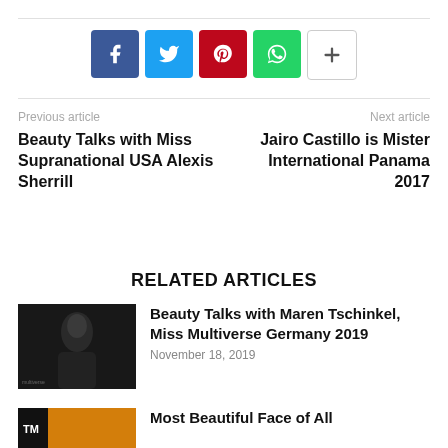[Figure (infographic): Social sharing buttons: Facebook (blue), Twitter (cyan), Pinterest (red), WhatsApp (green), More (white with plus)]
Previous article
Beauty Talks with Miss Supranational USA Alexis Sherrill
Next article
Jairo Castillo is Mister International Panama 2017
RELATED ARTICLES
[Figure (photo): Portrait of Maren Tschinkel, woman with updo hair, wearing white dress, dark background with 'multiverse' text watermark]
Beauty Talks with Maren Tschinkel, Miss Multiverse Germany 2019
November 18, 2019
[Figure (photo): Thumbnail image with orange/warm tones and TM logo]
Most Beautiful Face of All